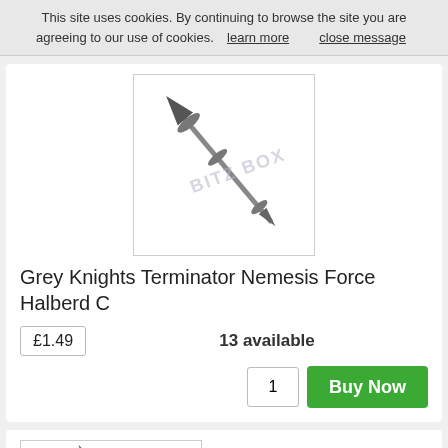This site uses cookies. By continuing to browse the site you are agreeing to our use of cookies.  learn more     close message
[Figure (photo): Grey Knights Terminator Nemesis Force Halberd C miniature weapon bit on white background with BITZ BOX watermark]
Grey Knights Terminator Nemesis Force Halberd C
£1.49
13 available
1
Buy Now
[Figure (photo): Grey Knights Terminator Nemesis Force sword/halberd miniature weapon bit on white background with BITZ BOX watermark]